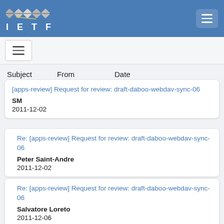IETF
Subject   From   Date
[apps-review] Request for review: draft-daboo-webdav-sync-06
SM
2011-12-02
Re: [apps-review] Request for review: draft-daboo-webdav-sync-06
Peter Saint-Andre
2011-12-02
Re: [apps-review] Request for review: draft-daboo-webdav-sync-06
Salvatore Loreto
2011-12-06